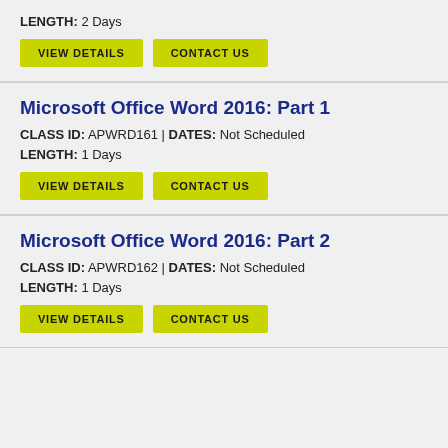LENGTH: 2 Days
VIEW DETAILS | CONTACT US
Microsoft Office Word 2016: Part 1
CLASS ID: APWRD161 | DATES: Not Scheduled
LENGTH: 1 Days
VIEW DETAILS | CONTACT US
Microsoft Office Word 2016: Part 2
CLASS ID: APWRD162 | DATES: Not Scheduled
LENGTH: 1 Days
VIEW DETAILS | CONTACT US